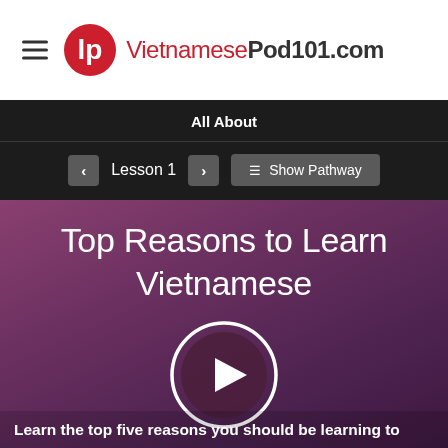VietnamesePod101.com
All About
Lesson 1   Show Pathway
Top Reasons to Learn Vietnamese
[Figure (other): Play button circle for video]
Learn the top five reasons you should be learning to